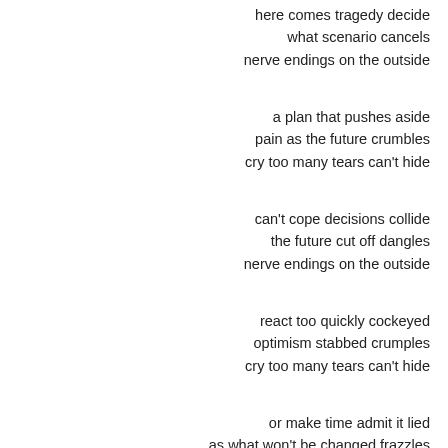here comes tragedy decide
what scenario cancels
nerve endings on the outside
a plan that pushes aside
pain as the future crumbles
cry too many tears can't hide
can't cope decisions collide
the future cut off dangles
nerve endings on the outside
react too quickly cockeyed
optimism stabbed crumples
cry too many tears can't hide
or make time admit it lied
as what won't be changed frazzles